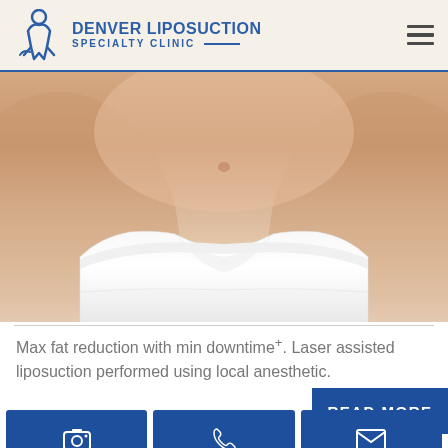DENVER LIPOSUCTION SPECIALTY CLINIC
[Figure (photo): Close-up photo of a woman's midsection wearing white underwear, showing the hip and abdomen area against a light background, representing a liposuction procedure area.]
Max fat reduction with min downtime+. Laser assisted liposuction performed using local anesthetic.
READ MORE
PHOTOS
CALL US
EMAIL